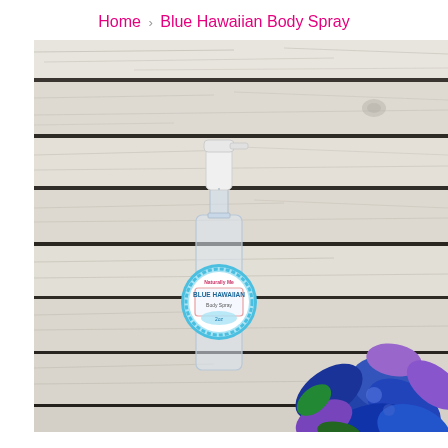Home › Blue Hawaiian Body Spray
[Figure (photo): A clear spray bottle with a white pump top and a circular blue Hawaiian body spray label, placed on a white distressed wood background with blue and purple tropical flowers in the bottom right corner.]